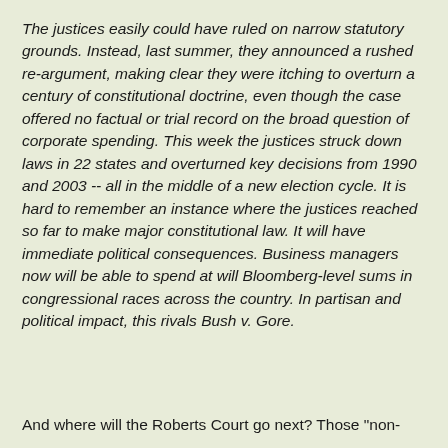The justices easily could have ruled on narrow statutory grounds. Instead, last summer, they announced a rushed re-argument, making clear they were itching to overturn a century of constitutional doctrine, even though the case offered no factual or trial record on the broad question of corporate spending. This week the justices struck down laws in 22 states and overturned key decisions from 1990 and 2003 -- all in the middle of a new election cycle. It is hard to remember an instance where the justices reached so far to make major constitutional law. It will have immediate political consequences. Business managers now will be able to spend at will Bloomberg-level sums in congressional races across the country. In partisan and political impact, this rivals Bush v. Gore.
And where will the Roberts Court go next? Those "non-